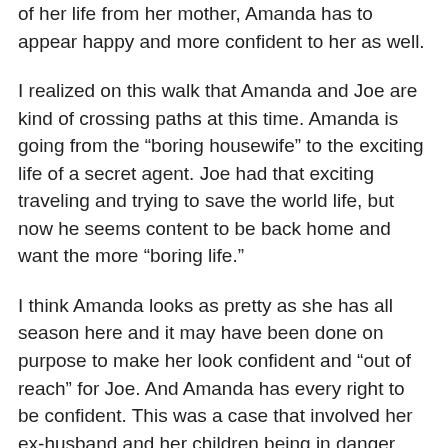of her life from her mother, Amanda has to appear happy and more confident to her as well.
I realized on this walk that Amanda and Joe are kind of crossing paths at this time. Amanda is going from the “boring housewife” to the exciting life of a secret agent. Joe had that exciting traveling and trying to save the world life, but now he seems content to be back home and want the more “boring life.”
I think Amanda looks as pretty as she has all season here and it may have been done on purpose to make her look confident and “out of reach” for Joe. And Amanda has every right to be confident. This was a case that involved her ex-husband and her children being in danger and she kept calm the whole time. I’m just glad